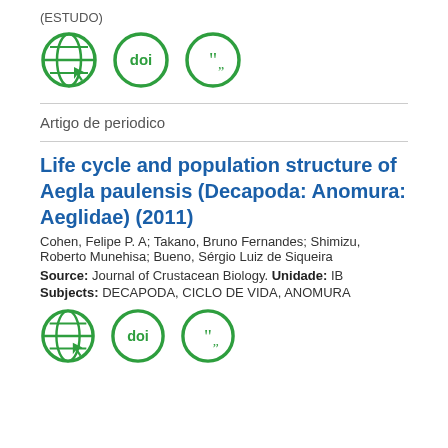(ESTUDO)
[Figure (illustration): Three green circular icons: a globe with cursor, a DOI badge, and a quotation marks badge]
Artigo de periodico
Life cycle and population structure of Aegla paulensis (Decapoda: Anomura: Aeglidae) (2011)
Cohen, Felipe P. A; Takano, Bruno Fernandes; Shimizu, Roberto Munehisa; Bueno, Sérgio Luiz de Siqueira
Source: Journal of Crustacean Biology. Unidade: IB
Subjects: DECAPODA, CICLO DE VIDA, ANOMURA
[Figure (illustration): Three green circular icons: a globe with cursor, a DOI badge, and a quotation marks badge]